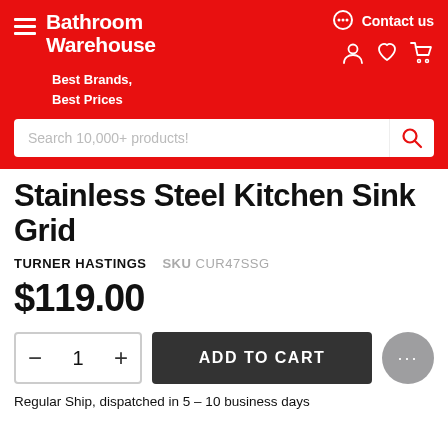Bathroom Warehouse — Best Brands, Best Prices
Stainless Steel Kitchen Sink Grid
TURNER HASTINGS   SKU CUR47SSG
$119.00
Regular Ship, dispatched in 5 – 10 business days